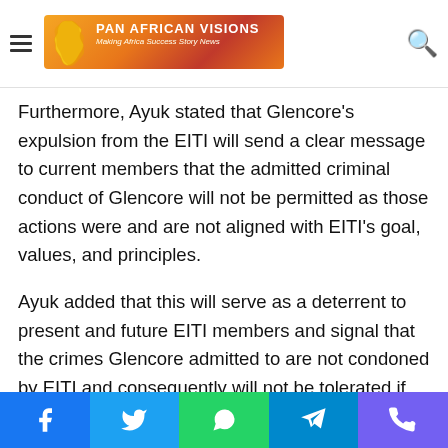Pan African Visions — Making Africa Success Story News
Furthermore, Ayuk stated that Glencore's expulsion from the EITI will send a clear message to current members that the admitted criminal conduct of Glencore will not be permitted as those actions were and are not aligned with EITI's goal, values, and principles.
Ayuk added that this will serve as a deterrent to present and future EITI members and signal that the crimes Glencore admitted to are not condoned by EITI and consequently will not be tolerated if Glencore is terminated.
Termination will also protect EITI's reputation and the reputations of the present complainants, demonstrating to the public that EITI takes its stated mission, values, rules, and
Facebook | Twitter | WhatsApp | Telegram | Viber